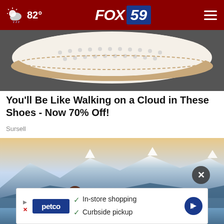82° FOX 59
[Figure (photo): Close-up of white perforated shoe sole on dark pavement]
You'll Be Like Walking on a Cloud in These Shoes - Now 70% Off!
Sursell
[Figure (photo): Woman with long dark hair and glasses sitting by an infinity pool overlooking snow-capped mountains at dusk]
[Figure (screenshot): Petco advertisement: In-store shopping, Curbside pickup]